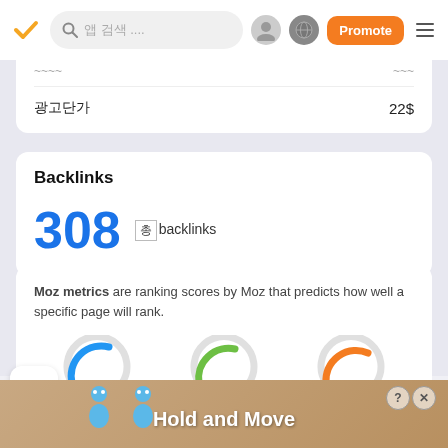검색 앱 UI 헤더 (Promote 버튼 포함)
22$
Backlinks
308 총 backlinks
Moz metrics are ranking scores by Moz that predicts how well a specific page will rank.
[Figure (other): Three partial donut/gauge charts in blue, green, and orange showing Moz metrics scores]
[Figure (other): Ad banner: Hold and Move game advertisement with cartoon characters]